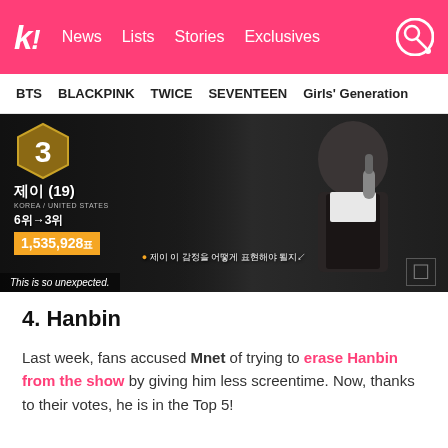k! News Lists Stories Exclusives
BTS   BLACKPINK   TWICE   SEVENTEEN   Girls' Generation
[Figure (screenshot): Screenshot from a Korean TV show (likely Produce X 101 or similar), showing a contestant ranked 3rd with 1,535,928 votes, moving from 6th to 3rd place. A person holds a microphone on the right side. Text overlay reads 'This is so unexpected.' Korean subtitles visible.]
4. Hanbin
Last week, fans accused Mnet of trying to erase Hanbin from the show by giving him less screentime. Now, thanks to their votes, he is in the Top 5!